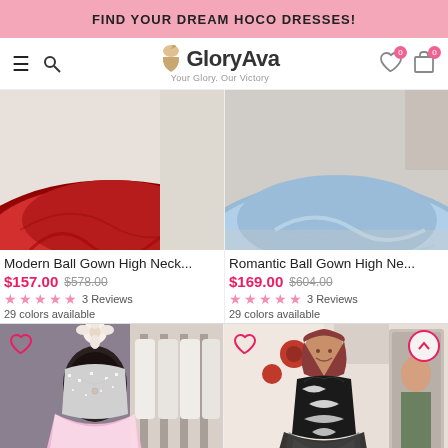FIND YOUR DREAM HOCO DRESSES!
[Figure (screenshot): GloryAva website navigation bar with hamburger menu, search icon, GloryAva logo with tagline 'Your Glory. Our Victory', heart icon with 0 badge, and cart icon with 0 badge]
[Figure (photo): Red ball gown dress, bottom portion showing full skirt]
Modern Ball Gown High Neck...
$157.00  $578.00
★★★★★ 3 Reviews
29 colors available
[Figure (photo): Light blue/periwinkle ball gown dress, bottom portion showing full skirt]
Romantic Ball Gown High Ne...
$169.00  $604.00
★★★★★ 3 Reviews
29 colors available
[Figure (photo): Pink ball gown with crystal/rhinestone sweetheart bodice on mannequin in bridal store]
[Figure (photo): Young woman wearing black tulle ball gown with white floral lace appliques, in a dress shop]